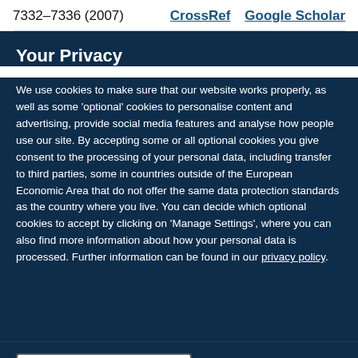7332–7336 (2007)
CrossRef   Google Scholar
Your Privacy
We use cookies to make sure that our website works properly, as well as some 'optional' cookies to personalise content and advertising, provide social media features and analyse how people use our site. By accepting some or all optional cookies you give consent to the processing of your personal data, including transfer to third parties, some in countries outside of the European Economic Area that do not offer the same data protection standards as the country where you live. You can decide which optional cookies to accept by clicking on 'Manage Settings', where you can also find more information about how your personal data is processed. Further information can be found in our privacy policy.
Accept all cookies
Manage preferences